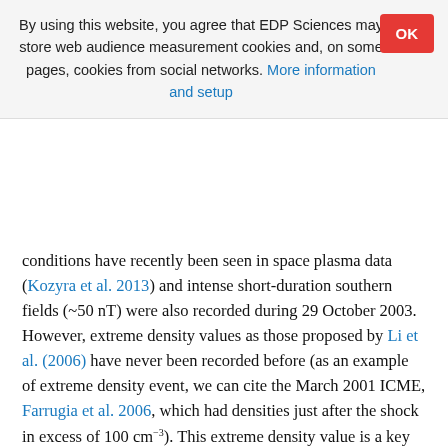By using this website, you agree that EDP Sciences may store web audience measurement cookies and, on some pages, cookies from social networks. More information and setup
conditions have recently been seen in space plasma data (Kozyra et al. 2013) and intense short-duration southern fields (~50 nT) were also recorded during 29 October 2003. However, extreme density values as those proposed by Li et al. (2006) have never been recorded before (as an example of extreme density event, we can cite the March 2001 ICME, Farrugia et al. 2006, which had densities just after the shock in excess of 100 cm⁻³). This extreme density value is a key point in the simulation process as that is the only way to match the fast recovery of Colaba record assuming that the drop in H was due to the ring current. Li et al. (2006) modelled Dst as a sum of several terms, each one varying in time depending on a “source” term (which represents the external driving) and a “loss” term (which represents the decay rate of the field